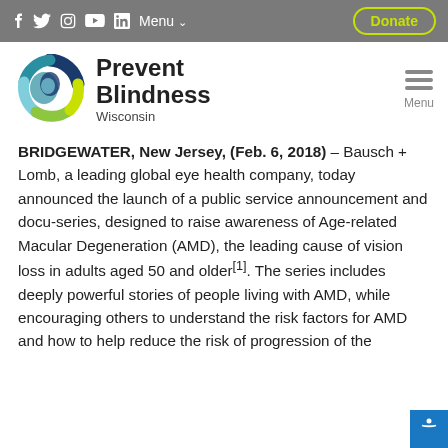f  Twitter  Instagram  YouTube  LinkedIn  Menu  Donate
[Figure (logo): Prevent Blindness Wisconsin circular logo with colorful eye graphic]
Prevent Blindness Wisconsin
BRIDGEWATER, New Jersey, (Feb. 6, 2018) – Bausch + Lomb, a leading global eye health company, today announced the launch of a public service announcement and docu-series, designed to raise awareness of Age-related Macular Degeneration (AMD), the leading cause of vision loss in adults aged 50 and older[1]. The series includes deeply powerful stories of people living with AMD, while encouraging others to understand the risk factors for AMD and how to help reduce the risk of progression of the